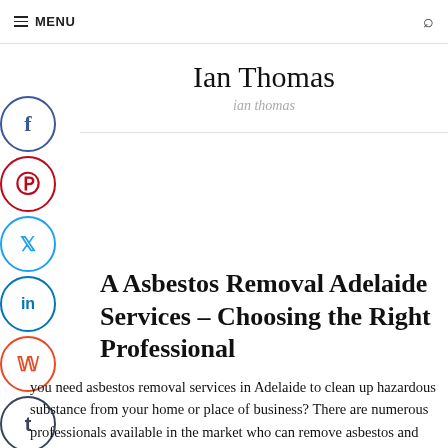MENU
Ian Thomas
ian thomas
A Asbestos Removal Adelaide Services – Choosing the Right Professional
you need asbestos removal services in Adelaide to clean up hazardous substance from your home or place of business? There are numerous professionals available in the market who can remove asbestos and restore your home or business to its